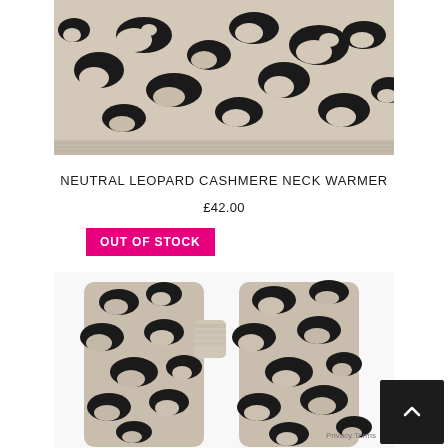[Figure (photo): Close-up of a neutral/beige cashmere neck warmer with black leopard print pattern, showing the knitted texture. The item is photographed from above against a white background, cropped at top.]
NEUTRAL LEOPARD CASHMERE NECK WARMER
£42.00
OUT OF STOCK
[Figure (photo): Two neutral/beige cashmere fingerless gloves with black leopard print pattern, laid flat and slightly overlapping against a white background. The gloves show the knitted texture and thumb opening detail.]